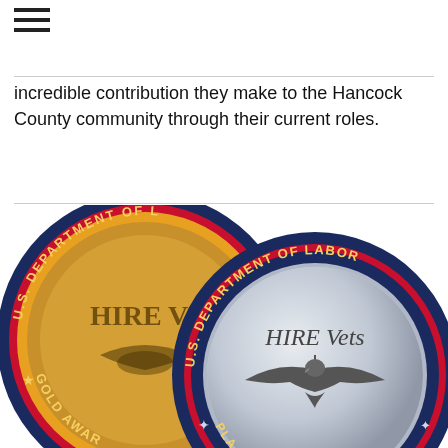≡
incredible contribution they make to the Hancock County community through their current roles.
[Figure (illustration): Two circular medallion badges from the U.S. Department of Labor HIRE Vets program. Left badge is partially visible showing a gold 'HIRE Vets' medallion with 'GOLD AWARD' text around the rim and U.S. Department of Labor designation. Right badge is a silver/platinum 'HIRE Vets' medallion with U.S. Department of Labor text around the rim and 'PLATINUM AWARD' partially visible, both featuring an eagle emblem in the center.]